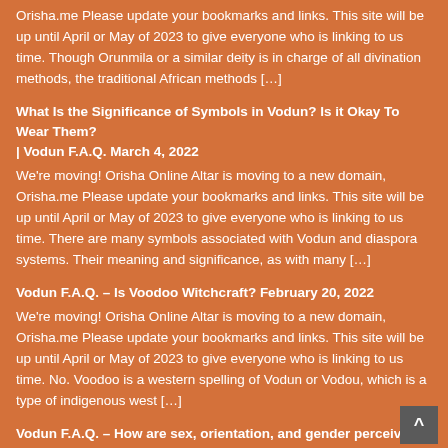Orisha.me Please update your bookmarks and links. This site will be up until April or May of 2023 to give everyone who is linking to us time. Though Orunmila or a similar deity is in charge of all divination methods, the traditional African methods […]
What Is the Significance of Symbols in Vodun? Is it Okay To Wear Them? | Vodun F.A.Q. March 4, 2022
We're moving! Orisha Online Altar is moving to a new domain, Orisha.me Please update your bookmarks and links. This site will be up until April or May of 2023 to give everyone who is linking to us time. There are many symbols associated with Vodun and diaspora systems. Their meaning and significance, as with many […]
Vodun F.A.Q. – Is Voodoo Witchcraft? February 20, 2022
We're moving! Orisha Online Altar is moving to a new domain, Orisha.me Please update your bookmarks and links. This site will be up until April or May of 2023 to give everyone who is linking to us time. No. Voodoo is a western spelling of Vodun or Vodou, which is a type of indigenous west […]
Vodun F.A.Q. – How are sex, orientation, and gender perceived in Vodun?